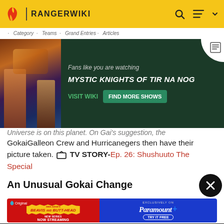RANGERWIKI
[Figure (infographic): Mystic Knights of Tir Na Nog advertisement banner with show poster image, subtitle 'Fans like you are watching', title 'MYSTIC KNIGHTS OF TIR NA NOG', VISIT WIKI and FIND MORE SHOWS buttons]
Universe is on this planet. On Gai's suggestion, the GokaiGalleon Crew and Hurricanegers then have their picture taken. TV STORY- Ep. 26: Shushuuto The Special
An Unusual Gokai Change
[Figure (infographic): Paramount+ advertisement for Mike Judge's Beavis and Butt-Head New Series Now Streaming, Exclusively on Paramount+, Try It Free]